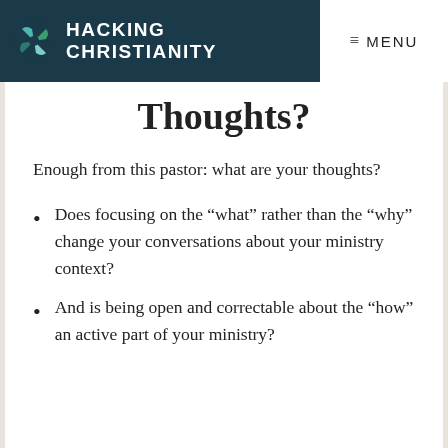HACKING CHRISTIANITY — MENU
Thoughts?
Enough from this pastor: what are your thoughts?
Does focusing on the “what” rather than the “why” change your conversations about your ministry context?
And is being open and correctable about the “how” an active part of your ministry?